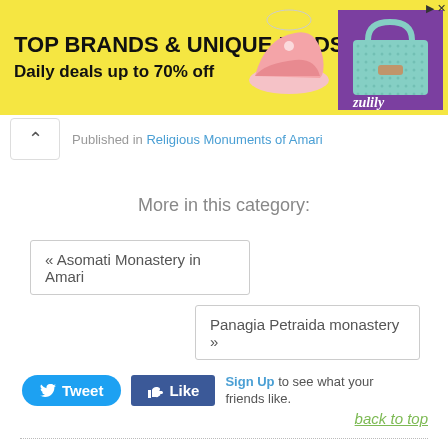[Figure (screenshot): Advertisement banner with yellow background showing 'TOP BRANDS & UNIQUE FINDS Daily deals up to 70% off' with shoe and bag images and Zulily logo on purple background]
Published in Religious Monuments of Amari
More in this category:
« Asomati Monastery in Amari
Panagia Petraida monastery »
Tweet  Like  Sign Up to see what your friends like.
back to top
ALSO READ: